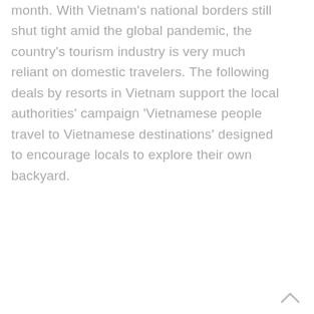month. With Vietnam's national borders still shut tight amid the global pandemic, the country's tourism industry is very much reliant on domestic travelers. The following deals by resorts in Vietnam support the local authorities' campaign 'Vietnamese people travel to Vietnamese destinations' designed to encourage locals to explore their own backyard.
[Figure (other): A small upward-pointing chevron/arrow icon in light gray, used as a scroll-to-top button in the bottom-right corner of the page.]